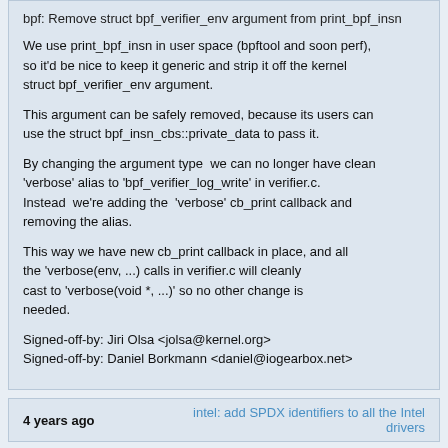bpf: Remove struct bpf_verifier_env argument from print_bpf_insn
We use print_bpf_insn in user space (bpftool and soon perf), so it'd be nice to keep it generic and strip it off the kernel struct bpf_verifier_env argument.
This argument can be safely removed, because its users can use the struct bpf_insn_cbs::private_data to pass it.
By changing the argument type  we can no longer have clean 'verbose' alias to 'bpf_verifier_log_write' in verifier.c. Instead  we're adding the  'verbose' cb_print callback and removing the alias.
This way we have new cb_print callback in place, and all the 'verbose(env, ...) calls in verifier.c will cleanly cast to 'verbose(void *, ...)' so no other change is needed.
Signed-off-by: Jiri Olsa <jolsa@kernel.org>
Signed-off-by: Daniel Borkmann <daniel@iogearbox.net>
4 years ago	intel: add SPDX identifiers to all the Intel drivers